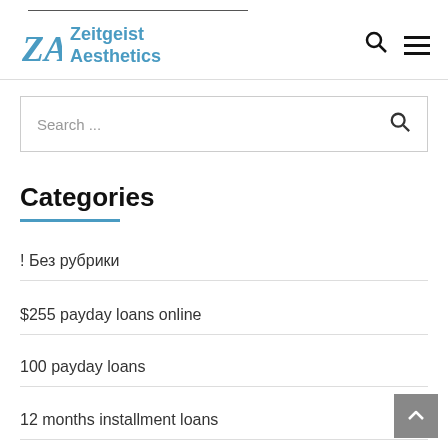Zeitgeist Aesthetics
[Figure (logo): Zeitgeist Aesthetics logo with ZA monogram in blue and site name in blue bold text]
Search ...
Categories
! Без рубрики
$255 payday loans online
100 payday loans
12 months installment loans